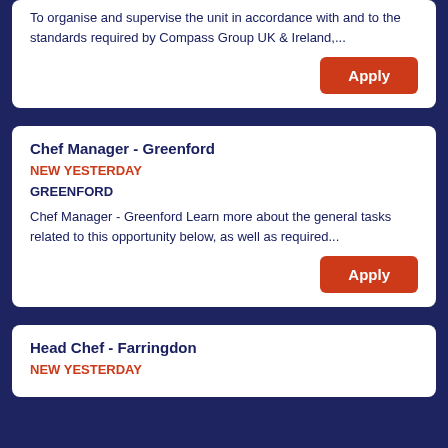To organise and supervise the unit in accordance with and to the standards required by Compass Group UK & Ireland,...
Apply
Chef Manager - Greenford
NEW YESTERDAY
GREENFORD
Chef Manager - Greenford Learn more about the general tasks related to this opportunity below, as well as required...
Apply
Head Chef - Farringdon
NEW YESTERDAY